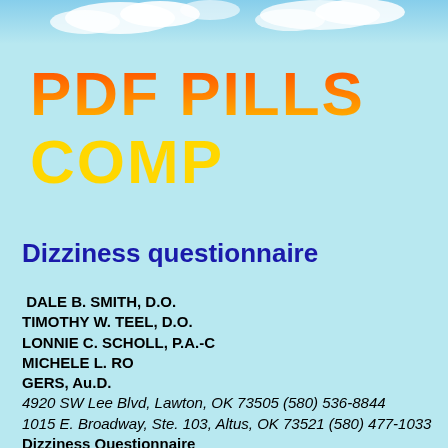[Figure (photo): Sky/clouds banner image at the top of the page]
PDF PILLS COMP
Dizziness questionnaire
DALE B. SMITH, D.O.
TIMOTHY W. TEEL, D.O.
LONNIE C. SCHOLL, P.A.-C
MICHELE L. ROGERS, Au.D.
4920 SW Lee Blvd, Lawton, OK 73505 (580) 536-8844
1015 E. Broadway, Ste. 103, Altus, OK 73521 (580) 477-1033
Dizziness Questionnaire
Date of Birth: